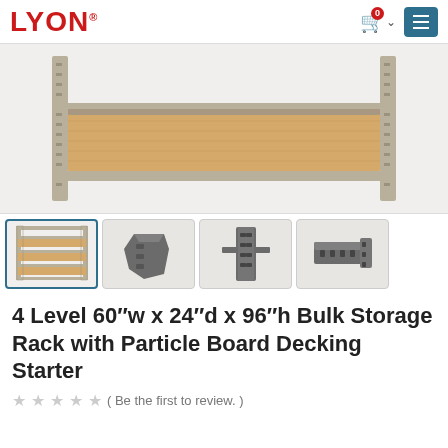LYON
[Figure (photo): Close-up photo of a Lyon bulk storage rack shelf level — beige/tan metal frame with a particle board decking surface, showing the shelf from the front/side angle.]
[Figure (photo): Thumbnail 1: Full shelving unit with 4 levels, particle board decking, tan/beige metal frame.]
[Figure (photo): Thumbnail 2: Close-up of a dark gray metal corner/bracket connector piece.]
[Figure (photo): Thumbnail 3: Close-up of a dark gray metal upright column connector.]
[Figure (photo): Thumbnail 4: Close-up of a dark gray metal beam end connector/bracket.]
4 Level 60″w x 24″d x 96″h Bulk Storage Rack with Particle Board Decking Starter
( Be the first to review. )